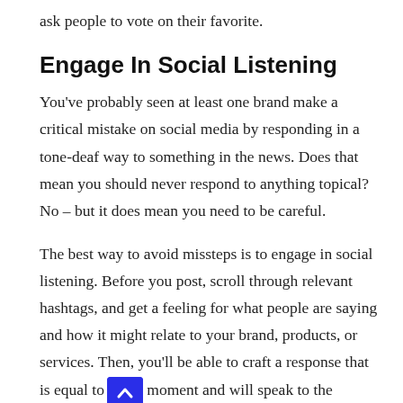ask people to vote on their favorite.
Engage In Social Listening
You've probably seen at least one brand make a critical mistake on social media by responding in a tone-deaf way to something in the news. Does that mean you should never respond to anything topical? No – but it does mean you need to be careful.
The best way to avoid missteps is to engage in social listening. Before you post, scroll through relevant hashtags, and get a feeling for what people are saying and how it might relate to your brand, products, or services. Then, you'll be able to craft a response that is equal to moment and will speak to the concerns and needs of the